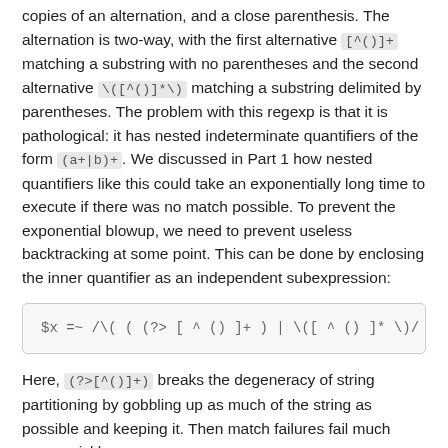copies of an alternation, and a close parenthesis. The alternation is two-way, with the first alternative [^()]+ matching a substring with no parentheses and the second alternative \([^()]*\) matching a substring delimited by parentheses. The problem with this regexp is that it is pathological: it has nested indeterminate quantifiers of the form (a+|b)+. We discussed in Part 1 how nested quantifiers like this could take an exponentially long time to execute if there was no match possible. To prevent the exponential blowup, we need to prevent useless backtracking at some point. This can be done by enclosing the inner quantifier as an independent subexpression:
Here, (?>[^()]+) breaks the degeneracy of string partitioning by gobbling up as much of the string as possible and keeping it. Then match failures fail much more quickly.